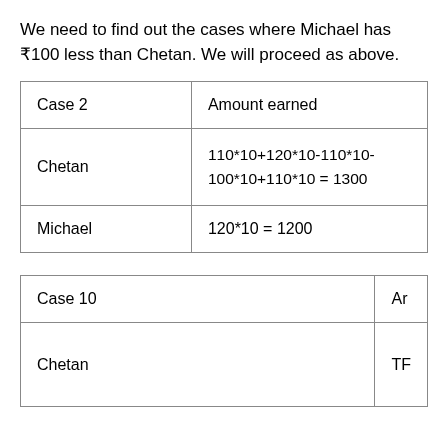We need to find out the cases where Michael has ₹100 less than Chetan. We will proceed as above.
| Case 2 | Amount earned |
| --- | --- |
| Chetan | 110*10+120*10-110*10-100*10+110*10 = 1300 |
| Michael | 120*10 = 1200 |
| Case 10 | Ar |
| --- | --- |
| Chetan | TF |